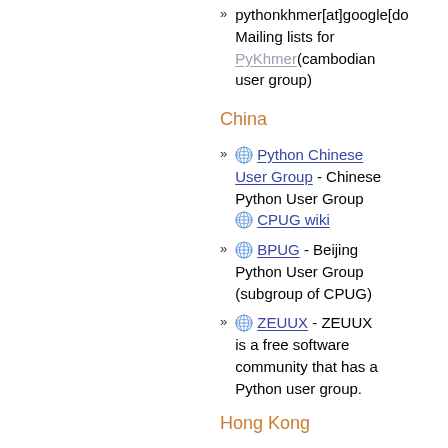pythonkhmer[at]google[do... Mailing lists for PyKhmer(cambodian user group)
China
Python Chinese User Group - Chinese Python User Group CPUG wiki
BPUG - Beijing Python User Group (subgroup of CPUG)
ZEUUX - ZEUUX is a free software community that has a Python user group.
Hong Kong